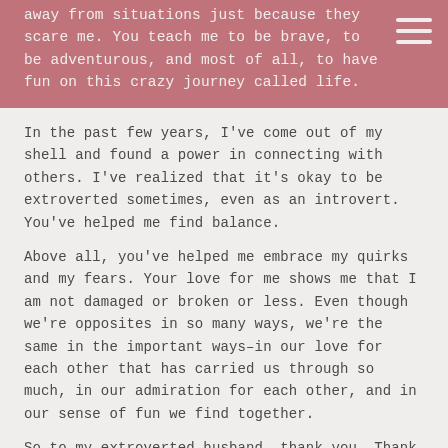away from situations just because they scare me. You teach me to be brave, to be adventurous, and most of all, to have fun on this crazy journey called life.
In the past few years, I've come out of my shell and found a power in connecting with others. I've realized that it's okay to be extroverted sometimes, even as an introvert. You've helped me find balance.
Above all, you've helped me embrace my quirks and my fears. Your love for me shows me that I am not damaged or broken or less. Even though we're opposites in so many ways, we're the same in the important ways–in our love for each other that has carried us through so much, in our admiration for each other, and in our sense of fun we find together.
So to my extroverted husband, thank you. Thank you for pushing me to be a better version of myself. Thank you for helping me embrace who I am while challenging myself to grow, to change, and to morph into the person I've become. Thank you for being my voice when I can't, and thank you for